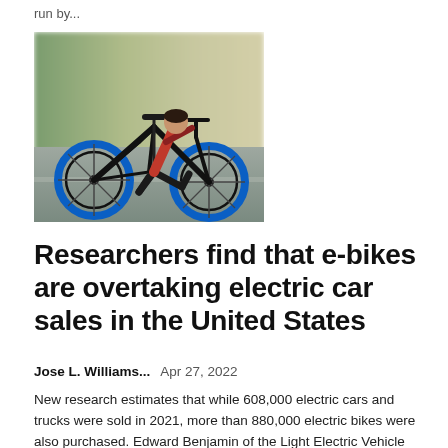run by...
[Figure (photo): Person riding a black electric bike with bright blue wheel rims on a road, motion blur in background, wearing a red and black flannel shirt and dark pants.]
Researchers find that e-bikes are overtaking electric car sales in the United States
Jose L. Williams...   Apr 27, 2022
New research estimates that while 608,000 electric cars and trucks were sold in 2021, more than 880,000 electric bikes were also purchased. Edward Benjamin of the Light Electric Vehicle Association predicts that more than one million...